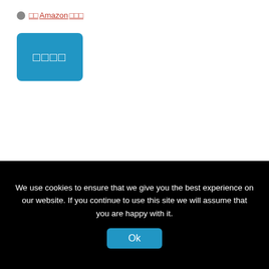□□Amazon □□□
[Figure (other): Teal/blue button with CJK characters □□□□]
[□□□□□, □□□] New Balance □□ $33.99(□□$64.99)
Sep. 4, 22 | □□□□, □□/□□
We use cookies to ensure that we give you the best experience on our website. If you continue to use this site we will assume that you are happy with it.
Ok